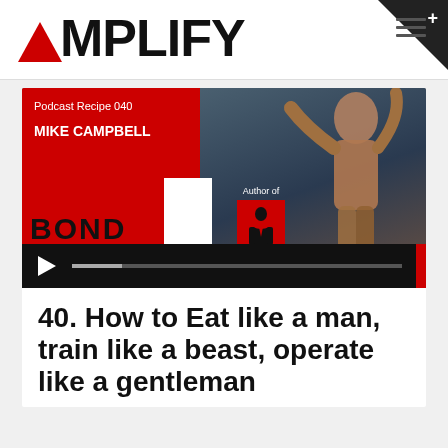AMPLIFY
[Figure (screenshot): Podcast episode thumbnail for Podcast Recipe 040 featuring Mike Campbell. Red and black layout with 'BOND' text, book cover silhouette, and an athletic man with arms raised. Includes audio player bar with play button and progress track.]
40. How to Eat like a man, train like a beast, operate like a gentleman